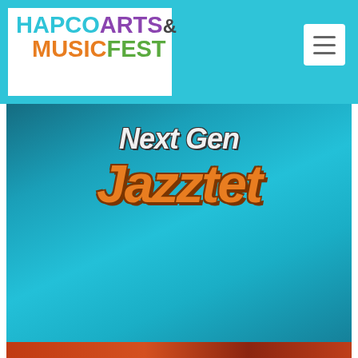HAPCO ARTS & MUSIC FEST
[Figure (photo): Stylized GTA-style graphic text reading 'Next Gen Jazztet' in white and orange italic block letters on a teal/blue gradient background]
The Next Gen Jazztet
Jazz
[Figure (photo): Bottom colorful image strip partially visible, warm red/orange tones]